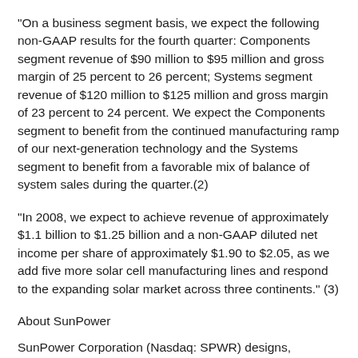"On a business segment basis, we expect the following non-GAAP results for the fourth quarter: Components segment revenue of $90 million to $95 million and gross margin of 25 percent to 26 percent; Systems segment revenue of $120 million to $125 million and gross margin of 23 percent to 24 percent. We expect the Components segment to benefit from the continued manufacturing ramp of our next-generation technology and the Systems segment to benefit from a favorable mix of balance of system sales during the quarter.(2)
"In 2008, we expect to achieve revenue of approximately $1.1 billion to $1.25 billion and a non-GAAP diluted net income per share of approximately $1.90 to $2.05, as we add five more solar cell manufacturing lines and respond to the expanding solar market across three continents." (3)
About SunPower
SunPower Corporation (Nasdaq: SPWR) designs, manufactures and delivers high-performance solar- electric systems worldwide for residential, commercial and utility-scale power plant customers. SunPower high-efficiency solar